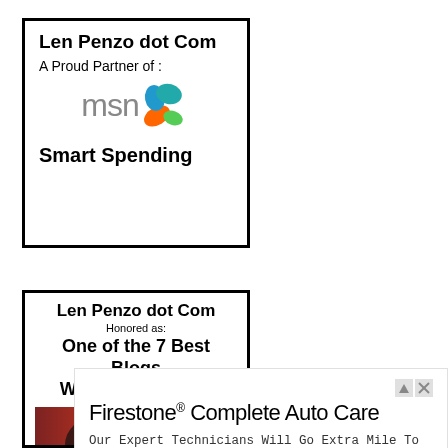[Figure (infographic): Len Penzo dot Com - A Proud Partner of MSN Smart Spending banner with MSN butterfly logo]
[Figure (infographic): Len Penzo dot Com - Honored as One of the 7 Best Blogs We Found in 2009 banner with red photo strip]
[Figure (infographic): Firestone Complete Auto Care advertisement banner with Learn More button]